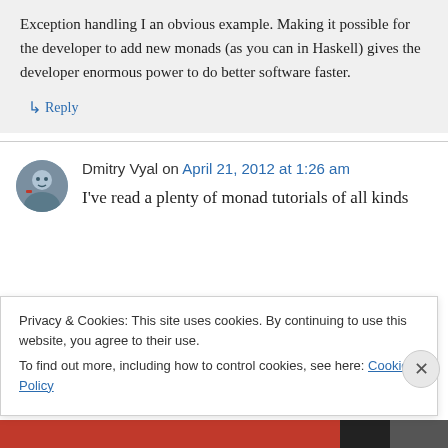Exception handling I an obvious example. Making it possible for the developer to add new monads (as you can in Haskell) gives the developer enormous power to do better software faster.
↳ Reply
Dmitry Vyal on April 21, 2012 at 1:26 am
I've read a plenty of monad tutorials of all kinds
Privacy & Cookies: This site uses cookies. By continuing to use this website, you agree to their use.
To find out more, including how to control cookies, see here: Cookie Policy
Close and accept